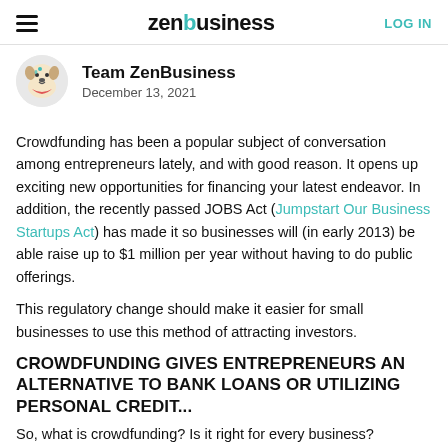zenbusiness | LOG IN
[Figure (logo): ZenBusiness mascot avatar - cartoon dog illustration in circular frame]
Team ZenBusiness
December 13, 2021
Crowdfunding has been a popular subject of conversation among entrepreneurs lately, and with good reason. It opens up exciting new opportunities for financing your latest endeavor. In addition, the recently passed JOBS Act (Jumpstart Our Business Startups Act) has made it so businesses will (in early 2013) be able raise up to $1 million per year without having to do public offerings.
This regulatory change should make it easier for small businesses to use this method of attracting investors.
CROWDFUNDING GIVES ENTREPRENEURS AN ALTERNATIVE TO BANK LOANS OR UTILIZING PERSONAL CREDIT...
So, what is crowdfunding? Is it right for every business?